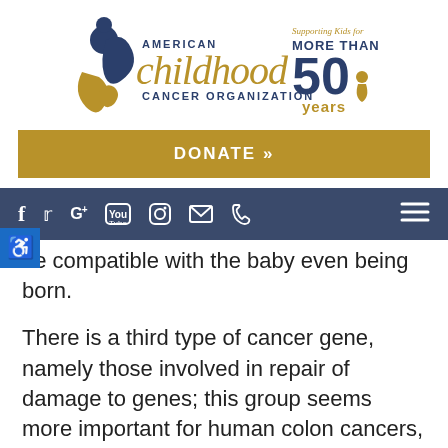[Figure (logo): American Childhood Cancer Organization logo with 'Supporting Kids for MORE THAN 50 years' text]
[Figure (other): Gold DONATE >> button banner]
[Figure (other): Dark blue social media navigation bar with Facebook, Twitter, Google+, YouTube, Instagram, email, phone icons and hamburger menu]
be compatible with the baby even being born.
There is a third type of cancer gene, namely those involved in repair of damage to genes; this group seems more important for human colon cancers, and not as much pediatric tumors. However, one can easily imagine that the gradual loss of the